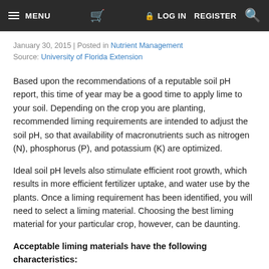≡ MENU  🛒  🔒 LOG IN  REGISTER  🔍
January 30, 2015 | Posted in Nutrient Management
Source: University of Florida Extension
Based upon the recommendations of a reputable soil pH report, this time of year may be a good time to apply lime to your soil. Depending on the crop you are planting, recommended liming requirements are intended to adjust the soil pH, so that availability of macronutrients such as nitrogen (N), phosphorus (P), and potassium (K) are optimized.
Ideal soil pH levels also stimulate efficient root growth, which results in more efficient fertilizer uptake, and water use by the plants. Once a liming requirement has been identified, you will need to select a liming material. Choosing the best liming material for your particular crop, however, can be daunting.
Acceptable liming materials have the following characteristics: